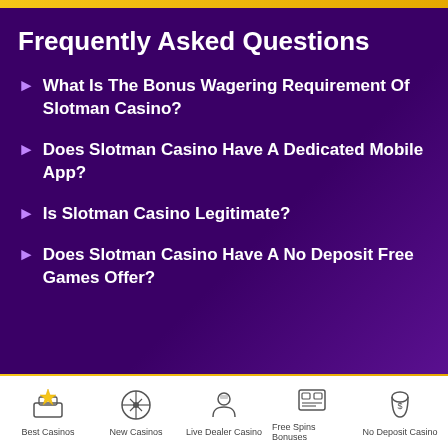Frequently Asked Questions
What Is The Bonus Wagering Requirement Of Slotman Casino?
Does Slotman Casino Have A Dedicated Mobile App?
Is Slotman Casino Legitimate?
Does Slotman Casino Have A No Deposit Free Games Offer?
Best Casinos | New Casinos | Live Dealer Casino | Free Spins Bonuses | No Deposit Casino